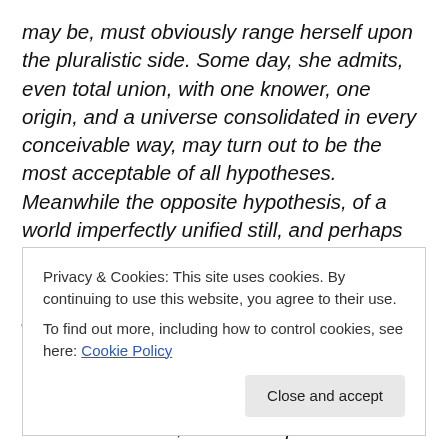may be, must obviously range herself upon the pluralistic side. Some day, she admits, even total union, with one knower, one origin, and a universe consolidated in every conceivable way, may turn out to be the most acceptable of all hypotheses. Meanwhile the opposite hypothesis, of a world imperfectly unified still, and perhaps always to remain so, must be sincerely entertained. This latter hypothesis is pluralism's doctrine. Since absolute monism forbids its being even considered seriously, branding it as irrational from the start, it is clear that pragmatism must turn its back on absolute monism, and follow pluralism's
Privacy & Cookies: This site uses cookies. By continuing to use this website, you agree to their use.
To find out more, including how to control cookies, see here: Cookie Policy